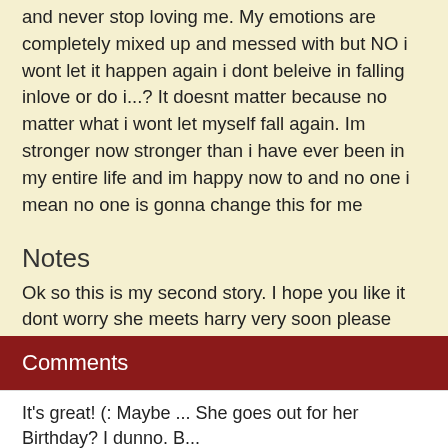and never stop loving me. My emotions are completely mixed up and messed with but NO i wont let it happen again i dont beleive in falling inlove or do i...? It doesnt matter because no matter what i wont let myself fall again. Im stronger now stronger than i have ever been in my entire life and im happy now to and no one i mean no one is gonna change this for me
Notes
Ok so this is my second story. I hope you like it dont worry she meets harry very soon please comment i reallly need feedback!! Is it any goood?? Should i continue writing or does it make no sense. I really need some advice !! What should i do ?? Givee me some ideas??
‹ Summary
Comments
It's great! (: Maybe ... She goes out for her Birthday? I dunno. B...